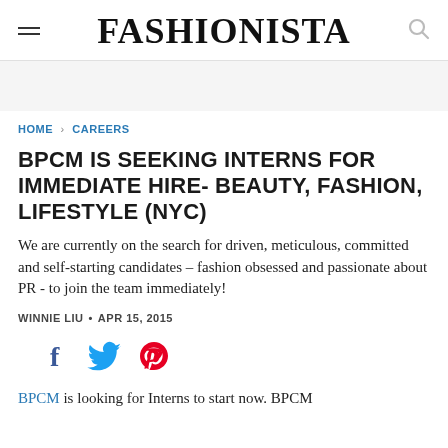FASHIONISTA
HOME > CAREERS
BPCM IS SEEKING INTERNS FOR IMMEDIATE HIRE- BEAUTY, FASHION, LIFESTYLE (NYC)
We are currently on the search for driven, meticulous, committed and self-starting candidates – fashion obsessed and passionate about PR - to join the team immediately!
WINNIE LIU • APR 15, 2015
[Figure (infographic): Social share icons: Facebook (f), Twitter (bird), Pinterest (P)]
BPCM is looking for Interns to start now. BPCM